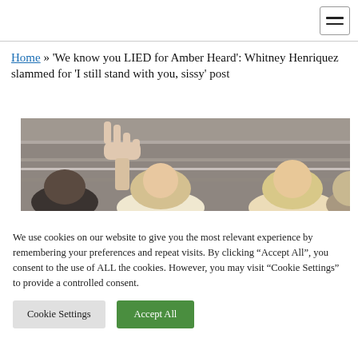Navigation bar with hamburger menu
Home » 'We know you LIED for Amber Heard': Whitney Henriquez slammed for 'I still stand with you, sissy' post
[Figure (photo): Outdoor crowd photo showing several people, one with raised hand making a peace sign, with women with blonde hair visible in foreground]
We use cookies on our website to give you the most relevant experience by remembering your preferences and repeat visits. By clicking “Accept All”, you consent to the use of ALL the cookies. However, you may visit “Cookie Settings” to provide a controlled consent.
Cookie Settings | Accept All